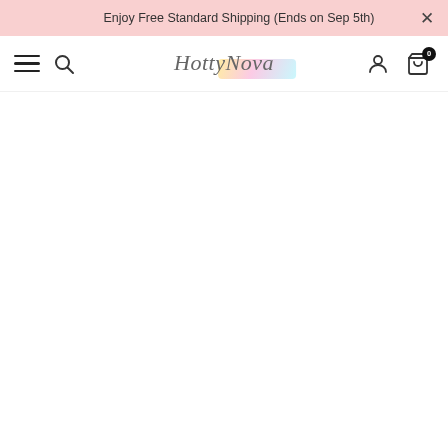Enjoy Free Standard Shipping (Ends on Sep 5th)
[Figure (logo): HottyNova brand logo with colorful watercolor highlight behind 'Nova' text]